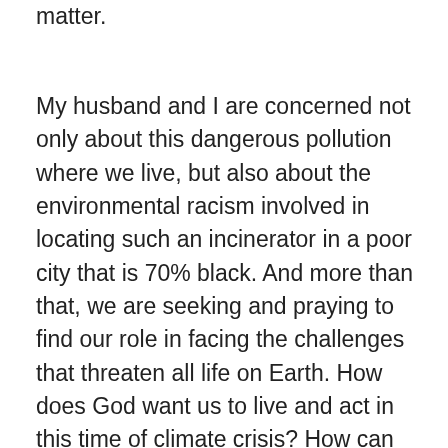connection to breathing toxic particulate matter.
My husband and I are concerned not only about this dangerous pollution where we live, but also about the environmental racism involved in locating such an incinerator in a poor city that is 70% black. And more than that, we are seeking and praying to find our role in facing the challenges that threaten all life on Earth. How does God want us to live and act in this time of climate crisis? How can we help transform a culture that is headed toward disaster?